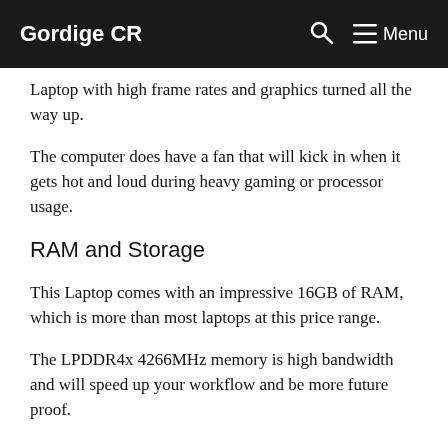Gordige CR  Menu
Laptop with high frame rates and graphics turned all the way up.
The computer does have a fan that will kick in when it gets hot and loud during heavy gaming or processor usage.
RAM and Storage
This Laptop comes with an impressive 16GB of RAM, which is more than most laptops at this price range.
The LPDDR4x 4266MHz memory is high bandwidth and will speed up your workflow and be more future proof.